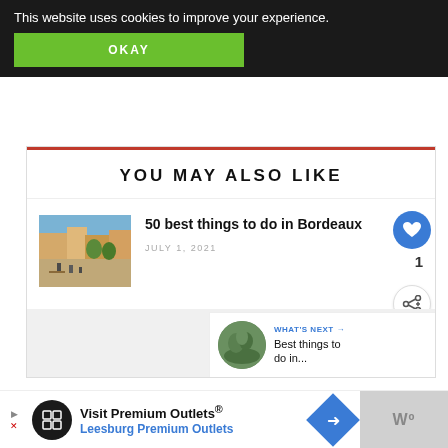This website uses cookies to improve your experience.
OKAY
YOU MAY ALSO LIKE
[Figure (photo): Photo of Bordeaux plaza with people dining outdoors]
50 best things to do in Bordeaux
JULY 1, 2021
WHAT'S NEXT → Best things to do in...
[Figure (photo): Advertisement: Visit Premium Outlets® Leesburg Premium Outlets]